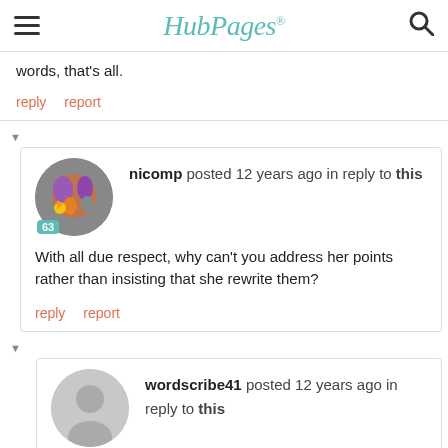HubPages
words, that's all.
reply   report
nicomp posted 12 years ago in reply to this
With all due respect, why can't you address her points rather than insisting that she rewrite them?
reply   report
wordscribe41 posted 12 years ago in reply to this